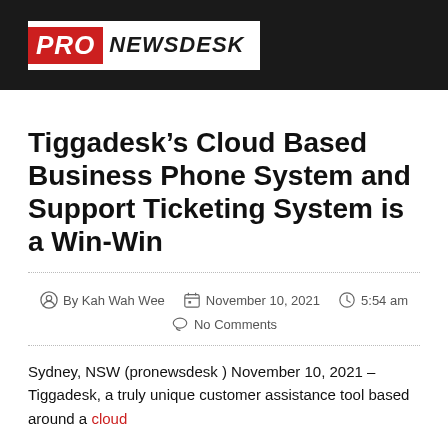[Figure (logo): PRO NEWSDESK logo on a black header bar — red italic 'PRO' block followed by 'NEWSDESK' in bold italic black text on white background]
Tiggadesk's Cloud Based Business Phone System and Support Ticketing System is a Win-Win
By Kah Wah Wee   November 10, 2021   5:54 am   No Comments
Sydney, NSW (pronewsdesk ) November 10, 2021 – Tiggadesk, a truly unique customer assistance tool based around a cloud